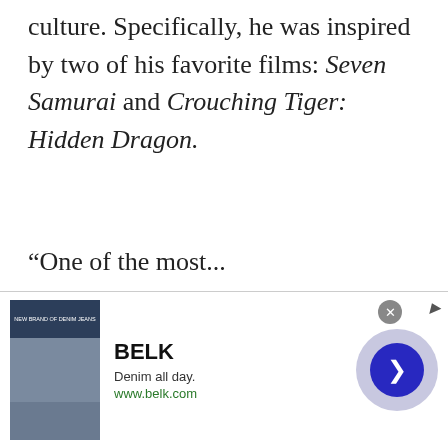culture. Specifically, he was inspired by two of his favorite films: Seven Samurai and Crouching Tiger: Hidden Dragon.
After describing how he has struggled for years to control his emotions, McManus offered one piece of advice for anyone who wishes to find inner peace.
“One of the most...
[Figure (screenshot): Advertisement banner for BELK showing denim clothing images, BELK logo, 'Denim all day.' tagline, www.belk.com URL, a close button (x), a right-arrow navigation button in a blue circle on a lavender background, and an info icon.]